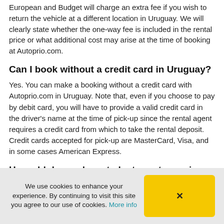European and Budget will charge an extra fee if you wish to return the vehicle at a different location in Uruguay. We will clearly state whether the one-way fee is included in the rental price or what additional cost may arise at the time of booking at Autoprio.com.
Can I book without a credit card in Uruguay?
Yes. You can make a booking without a credit card with Autoprio.com in Uruguay. Note that, even if you choose to pay by debit card, you will have to provide a valid credit card in the driver's name at the time of pick-up since the rental agent requires a credit card from which to take the rental deposit. Credit cards accepted for pick-up are MasterCard, Visa, and in some cases American Express.
How old do you have to be to rent a car in Uruguay?
Most car hire companies have a minimum age limit of 21 years for rentals. However, requirements may vary depending on the car rental company and destination country. Please note that there
We use cookies to enhance your experience. By continuing to visit this site you agree to our use of cookies. More info